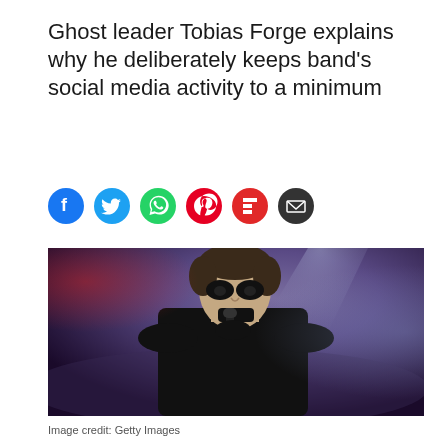Ghost leader Tobias Forge explains why he deliberately keeps band's social media activity to a minimum
[Figure (other): Social media share buttons row: Facebook (blue), Twitter (light blue), WhatsApp (dark green), Pinterest (red), Flipboard (red), Email (dark grey)]
[Figure (photo): A male performer on stage in dramatic dark lighting with purple/blue stage lights, wearing black clothing and leather gloves, holding a microphone close to his face. Heavy black eye makeup. Stage smoke in background.]
Image credit: Getty Images